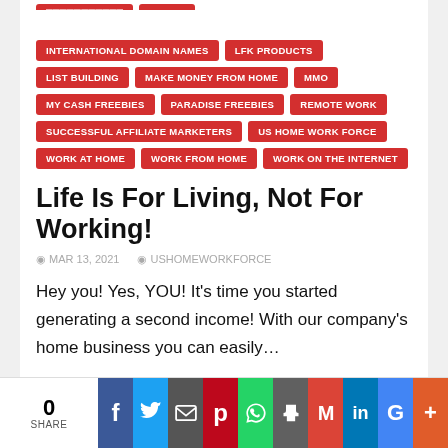INTERNATIONAL DOMAIN NAMES
LFK PRODUCTS
LIST BUILDING
MAKE MONEY FROM HOME
MMO
MY CASH FREEBIES
PARADISE FREEBIES
REMOTE WORK
SUCCESSFUL AFFILIATE MARKETERS
US HOME WORK FORCE
WORK AT HOME
WORK FROM HOME
WORK ON THE INTERNET
Life Is For Living, Not For Working!
MAR 13, 2021  USHOMEWORKFORCE
Hey you! Yes, YOU! It's time you started generating a second income! With our company's home business you can easily…
0 SHARE | Facebook | Twitter | Email | Pinterest | WhatsApp | Print | Gmail | LinkedIn | Google+ | More